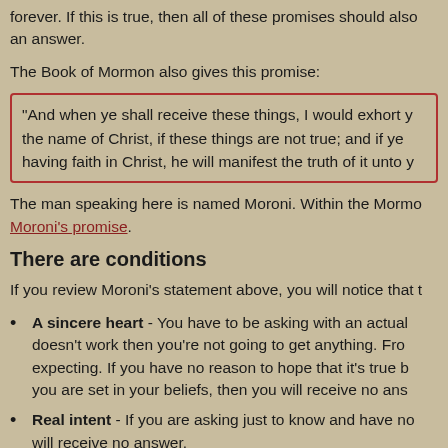forever. If this is true, then all of these promises should also an answer.
The Book of Mormon also gives this promise:
"And when ye shall receive these things, I would exhort y the name of Christ, if these things are not true; and if ye having faith in Christ, he will manifest the truth of it unto y
The man speaking here is named Moroni. Within the Mormo Moroni's promise.
There are conditions
If you review Moroni's statement above, you will notice that t
A sincere heart - You have to be asking with an actual doesn't work then you're not going to get anything. Fro expecting. If you have no reason to hope that it's true b you are set in your beliefs, then you will receive no ans
Real intent - If you are asking just to know and have no will receive no answer.
Faith in Christ - You have to at least have some hope t